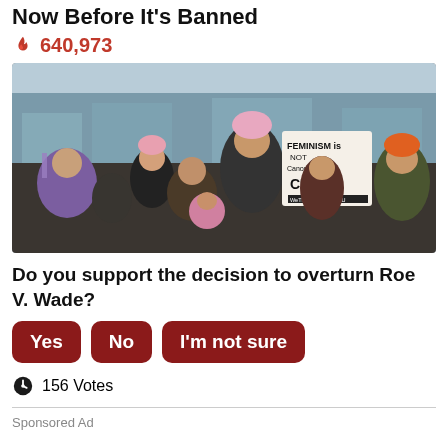Now Before It's Banned
🔥 640,973
[Figure (photo): Crowd at a women's march/protest, woman in pink knit hat holding a sign reading 'FEMINISM is NOT Cancer IT'S the CURE' with ACLU and WeThePeople logos. Many protesters visible with pink hats and signs.]
Do you support the decision to overturn Roe V. Wade?
Yes
No
I'm not sure
156 Votes
Sponsored Ad